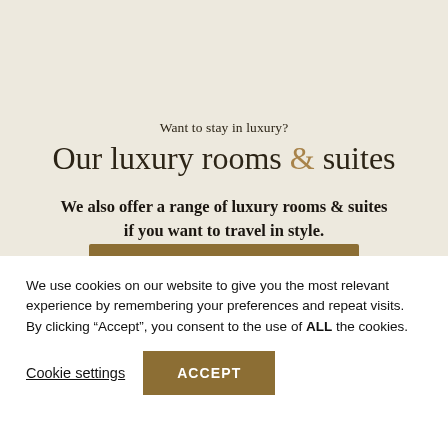Want to stay in luxury?
Our luxury rooms & suites
We also offer a range of luxury rooms & suites if you want to travel in style.
[Figure (other): Gold/tan rectangular button bar]
We use cookies on our website to give you the most relevant experience by remembering your preferences and repeat visits. By clicking “Accept”, you consent to the use of ALL the cookies.
Cookie settings
ACCEPT